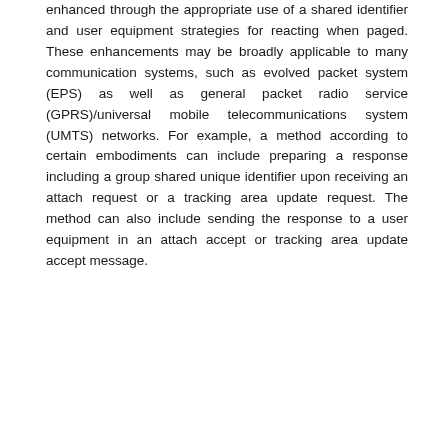enhanced through the appropriate use of a shared identifier and user equipment strategies for reacting when paged. These enhancements may be broadly applicable to many communication systems, such as evolved packet system (EPS) as well as general packet radio service (GPRS)/universal mobile telecommunications system (UMTS) networks. For example, a method according to certain embodiments can include preparing a response including a group shared unique identifier upon receiving an attach request or a tracking area update request. The method can also include sending the response to a user equipment in an attach accept or tracking area update accept message.